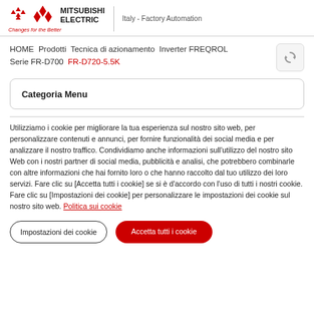MITSUBISHI ELECTRIC | Italy - Factory Automation | Changes for the Better
HOME  Prodotti  Tecnica di azionamento  Inverter FREQROL  Serie FR-D700  FR-D720-5.5K
Categoria Menu
Utilizziamo i cookie per migliorare la tua esperienza sul nostro sito web, per personalizzare contenuti e annunci, per fornire funzionalità dei social media e per analizzare il nostro traffico. Condividiamo anche informazioni sull'utilizzo del nostro sito Web con i nostri partner di social media, pubblicità e analisi, che potrebbero combinarle con altre informazioni che hai fornito loro o che hanno raccolto dal tuo utilizzo dei loro servizi. Fare clic su [Accetta tutti i cookie] se si è d'accordo con l'uso di tutti i nostri cookie. Fare clic su [Impostazioni dei cookie] per personalizzare le impostazioni dei cookie sul nostro sito web. Politica sui cookie
Impostazioni dei cookie
Accetta tutti i cookie